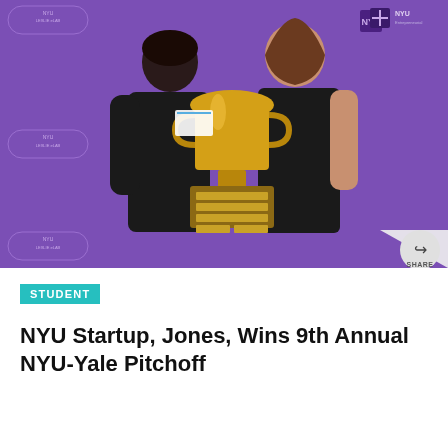[Figure (photo): Two women smiling and holding a large gold trophy cup together in front of a purple NYU Leslie eLab branded backdrop. One woman wears a black hoodie with a name tag, the other wears a black tank top. A share button with an arrow icon is visible in the bottom right corner of the image.]
STUDENT
NYU Startup, Jones, Wins 9th Annual NYU-Yale Pitchoff
Wed, Aug 3, 2022
By Ben Zhu